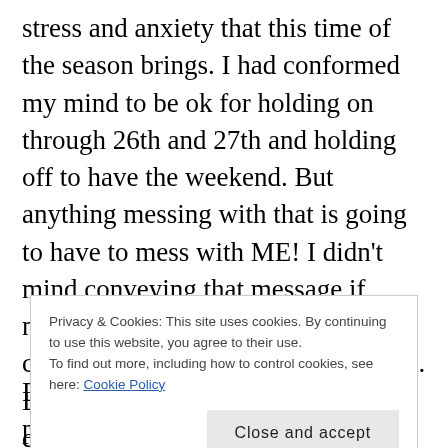stress and anxiety that this time of the season brings. I had conformed my mind to be ok for holding on through 26th and 27th and holding off to have the weekend. But anything messing with that is going to have to mess with ME! I didn’t mind conveying that message if needed. Matter of fact I believe I conveyed it before it was needed. lol. Lack of sleep, stressed, bear like – don’t touch this! lol. So I started the day yesterday “done” before it ever began. I knew it would be tough
Privacy & Cookies: This site uses cookies. By continuing to use this website, you agree to their use.
To find out more, including how to control cookies, see here: Cookie Policy
Done close to lunch time at that point. I still had